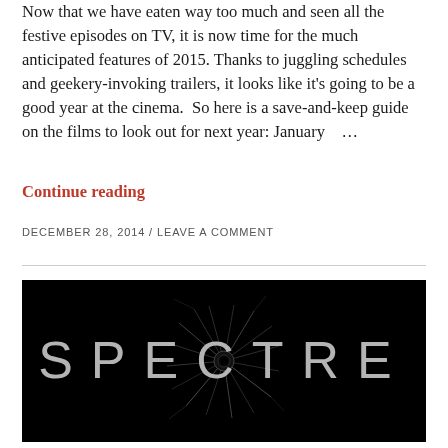Now that we have eaten way too much and seen all the festive episodes on TV, it is now time for the much anticipated features of 2015. Thanks to juggling schedules and geekery-invoking trailers, it looks like it's going to be a good year at the cinema.  So here is a save-and-keep guide on the films to look out for next year: January    ...
Continue reading
DECEMBER 28, 2014 / LEAVE A COMMENT
[Figure (photo): Black background movie title card for SPECTRE (James Bond film) with white cracked/shattered glass effect lettering spelling out S P E C T R E with a bullet hole or impact point in the center of the word.]